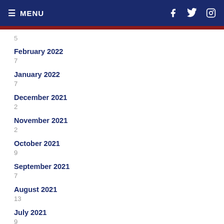≡ MENU
5
February 2022
7
January 2022
7
December 2021
2
November 2021
2
October 2021
9
September 2021
7
August 2021
13
July 2021
9
June 2021